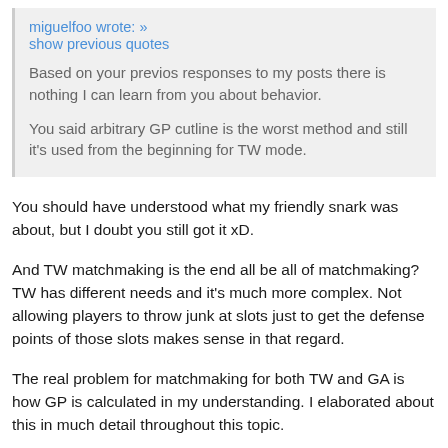miguelfoo wrote: » show previous quotes
Based on your previos responses to my posts there is nothing I can learn from you about behavior.

You said arbitrary GP cutline is the worst method and still it's used from the beginning for TW mode.
You should have understood what my friendly snark was about, but I doubt you still got it xD.
And TW matchmaking is the end all be all of matchmaking? TW has different needs and it's much more complex. Not allowing players to throw junk at slots just to get the defense points of those slots makes sense in that regard.
The real problem for matchmaking for both TW and GA is how GP is calculated in my understanding. I elaborated about this in much detail throughout this topic.